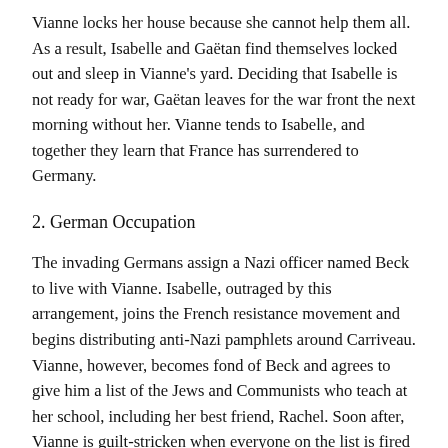Vianne locks her house because she cannot help them all. As a result, Isabelle and Gaëtan find themselves locked out and sleep in Vianne's yard. Deciding that Isabelle is not ready for war, Gaëtan leaves for the war front the next morning without her. Vianne tends to Isabelle, and together they learn that France has surrendered to Germany.
2. German Occupation
The invading Germans assign a Nazi officer named Beck to live with Vianne. Isabelle, outraged by this arrangement, joins the French resistance movement and begins distributing anti-Nazi pamphlets around Carriveau. Vianne, however, becomes fond of Beck and agrees to give him a list of the Jews and Communists who teach at her school, including her best friend, Rachel. Soon after, Vianne is guilt-stricken when everyone on the list is fired from their teaching jobs.
Isabelle is interrogated about some pamphlets at…